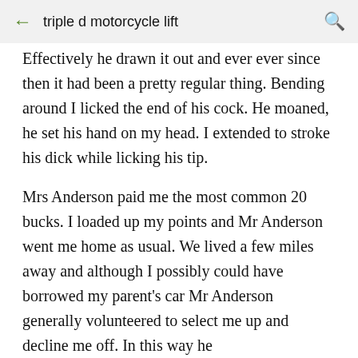triple d motorcycle lift
Effectively he drawn it out and ever ever since then it had been a pretty regular thing. Bending around I licked the end of his cock. He moaned, he set his hand on my head. I extended to stroke his dick while licking his tip.
Mrs Anderson paid me the most common 20 bucks. I loaded up my points and Mr Anderson went me home as usual. We lived a few miles away and although I possibly could have borrowed my parent's car Mr Anderson generally volunteered to select me up and decline me off. In this way he